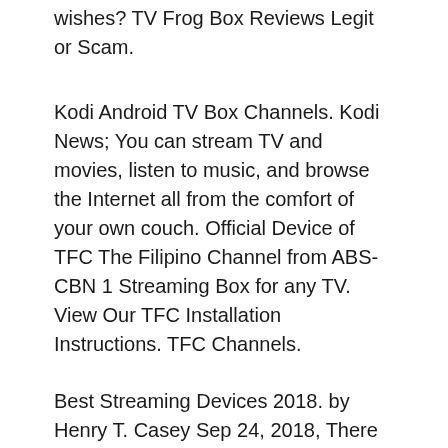wishes? TV Frog Box Reviews Legit or Scam.
Kodi Android TV Box Channels. Kodi News; You can stream TV and movies, listen to music, and browse the Internet all from the comfort of your own couch. Official Device of TFC The Filipino Channel from ABS-CBN 1 Streaming Box for any TV. View Our TFC Installation Instructions. TFC Channels.
Best Streaming Devices 2018. by Henry T. Casey Sep 24, 2018, There are lots of ways to stream online content directly to your TV, including simple set-top boxes, FREE FROG TV is a member of Vimeo, the home for high quality videos and the people who love them.